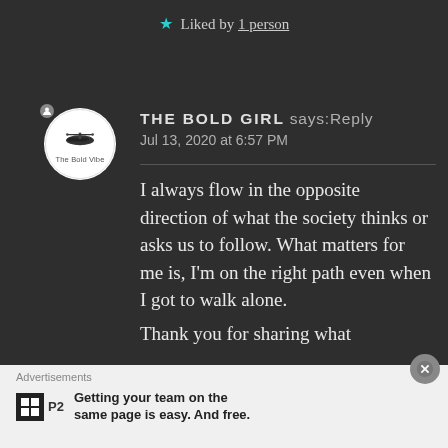★ Liked by 1 person
THE BOLD GIRL says: Reply
Jul 13, 2020 at 6:57 PM
I always flow in the opposite direction of what the society thinks or asks us to follow. What matters for me is, I'm on the right path even when I got to walk alone.
Thank you for sharing what
Advertisements
Getting your team on the same page is easy. And free.